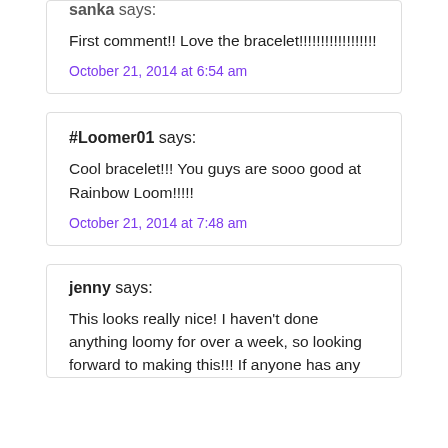sanka says:
First comment!! Love the bracelet!!!!!!!!!!!!!!!!!!
October 21, 2014 at 6:54 am
#Loomer01 says:
Cool bracelet!!! You guys are sooo good at Rainbow Loom!!!!!
October 21, 2014 at 7:48 am
jenny says:
This looks really nice! I haven't done anything loomy for over a week, so looking forward to making this!!! If anyone has any